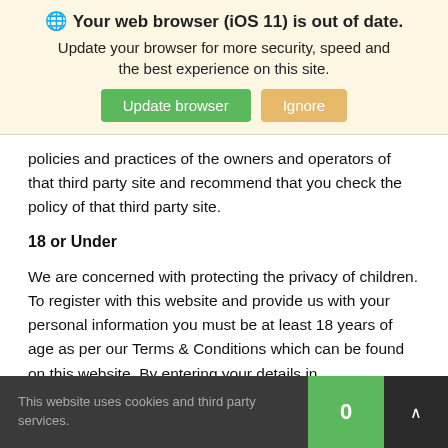[Figure (screenshot): Browser update notification banner with globe icon, bold title 'Your web browser (iOS 11) is out of date.', subtitle text, and two buttons: 'Update browser' (green) and 'Ignore' (tan/gold)]
policies and practices of the owners and operators of that third party site and recommend that you check the policy of that third party site.
18 or Under
We are concerned with protecting the privacy of children. To register with this website and provide us with your personal information you must be at least 18 years of age as per our Terms & Conditions which can be found on this website. By entering your details in
This website uses cookies and third party services.